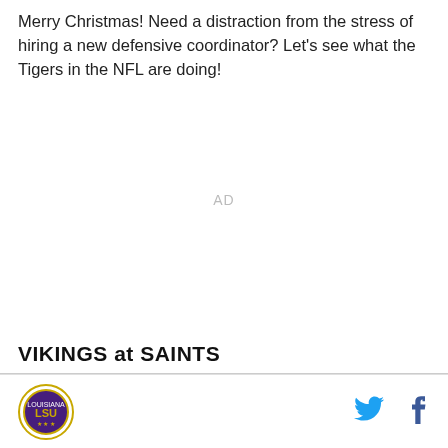Merry Christmas! Need a distraction from the stress of hiring a new defensive coordinator? Let's see what the Tigers in the NFL are doing!
[Figure (other): AD placeholder / advertisement space]
VIKINGS at SAINTS
[Figure (logo): LSU Tigers circular logo with gold border]
[Figure (other): Twitter bird icon (cyan/blue)]
[Figure (other): Facebook f icon (dark blue)]